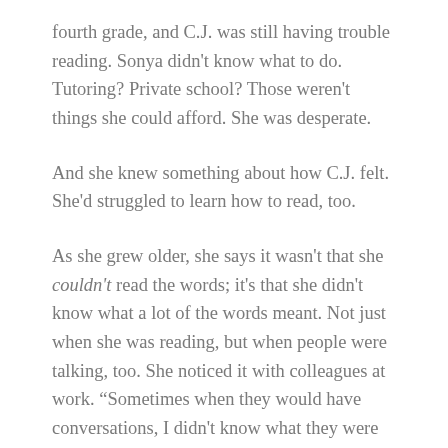fourth grade, and C.J. was still having trouble reading. Sonya didn't know what to do. Tutoring? Private school? Those weren't things she could afford. She was desperate.
And she knew something about how C.J. felt. She'd struggled to learn how to read, too.
As she grew older, she says it wasn't that she couldn't read the words; it's that she didn't know what a lot of the words meant. Not just when she was reading, but when people were talking, too. She noticed it with colleagues at work. “Sometimes when they would have conversations, I didn't know what they were talking about,” she said. “I would find myself Googling words.” It was embarrassing. She did not